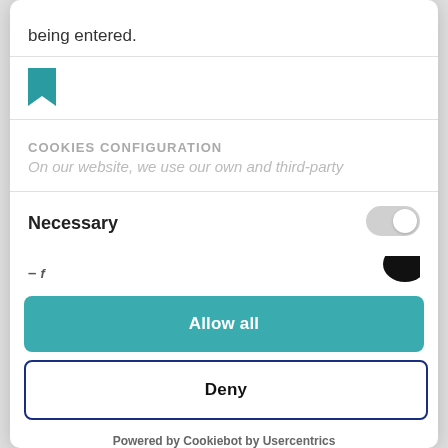being entered.
[Figure (logo): Teal bookmark/ribbon icon]
COOKIES CONFIGURATION
On our website, we use our own and third-party
Necessary
[Figure (other): Toggle switch in off/grey state]
[Figure (other): Toggle switch in on/black state (partially visible)]
Allow all
Deny
Powered by Cookiebot by Usercentrics